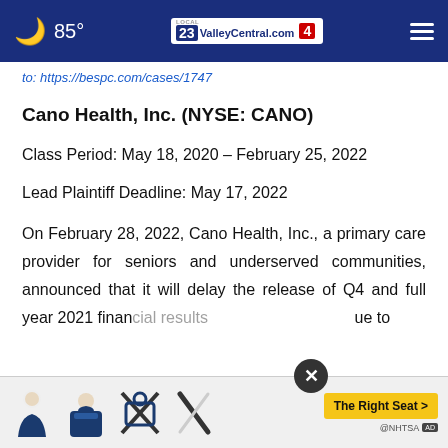85° ValleyCentral.com Local 23 | 4
to: https://bespc.com/cases/1747
Cano Health, Inc. (NYSE: CANO)
Class Period: May 18, 2020 – February 25, 2022
Lead Plaintiff Deadline: May 17, 2022
On February 28, 2022, Cano Health, Inc., a primary care provider for seniors and underserved communities, announced that it will delay the release of Q4 and full year 2021 financial results due to
[Figure (screenshot): NHTSA advertisement overlay with car seat safety icons and 'The Right Seat' call to action button]